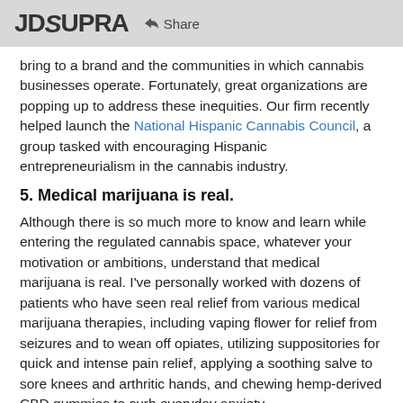JD SUPRA  Share
bring to a brand and the communities in which cannabis businesses operate. Fortunately, great organizations are popping up to address these inequities. Our firm recently helped launch the National Hispanic Cannabis Council, a group tasked with encouraging Hispanic entrepreneurialism in the cannabis industry.
5. Medical marijuana is real.
Although there is so much more to know and learn while entering the regulated cannabis space, whatever your motivation or ambitions, understand that medical marijuana is real. I've personally worked with dozens of patients who have seen real relief from various medical marijuana therapies, including vaping flower for relief from seizures and to wean off opiates, utilizing suppositories for quick and intense pain relief, applying a soothing salve to sore knees and arthritic hands, and chewing hemp-derived CBD gummies to curb everyday anxiety.